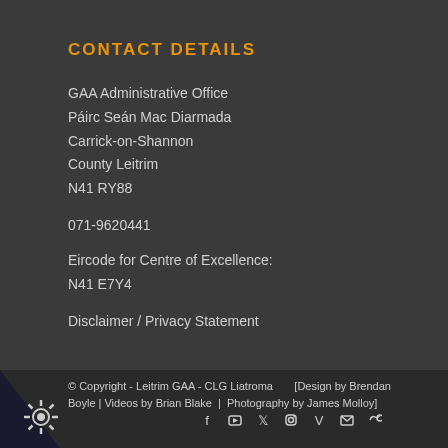CONTACT DETAILS
GAA Administrative Office
Páirc Seán Mac Diarmada
Carrick-on-Shannon
County Leitrim
N41 RY88
071-9620441
Eircode for Centre of Excellence:
N41 E7Y4
Disclaimer / Privacy Statement
© Copyright - Leitrim GAA - CLG Liatroma    [Design by Brendan Boyle | Videos by Brian Blake | Photography by James Molloy]